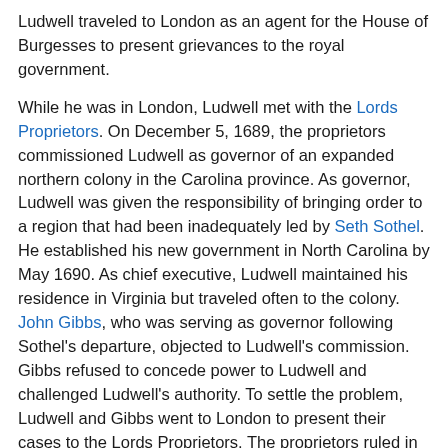Ludwell traveled to London as an agent for the House of Burgesses to present grievances to the royal government.
While he was in London, Ludwell met with the Lords Proprietors. On December 5, 1689, the proprietors commissioned Ludwell as governor of an expanded northern colony in the Carolina province. As governor, Ludwell was given the responsibility of bringing order to a region that had been inadequately led by Seth Sothel. He established his new government in North Carolina by May 1690. As chief executive, Ludwell maintained his residence in Virginia but traveled often to the colony. John Gibbs, who was serving as governor following Sothel's departure, objected to Ludwell's commission. Gibbs refused to concede power to Ludwell and challenged Ludwell's authority. To settle the problem, Ludwell and Gibbs went to London to present their cases to the Lords Proprietors. The proprietors ruled in Ludwell's favor upholding his appointment as governor.
In November 1691 the Lords Proprietors appointed Ludwell "Governor and Comander in Cheif [sic] of Carolina" with the authority "to apoint [sic] a Deputy Governor of North Carolina." Thomas Jarvis was chosen as the deputy governor. With Jarvis in